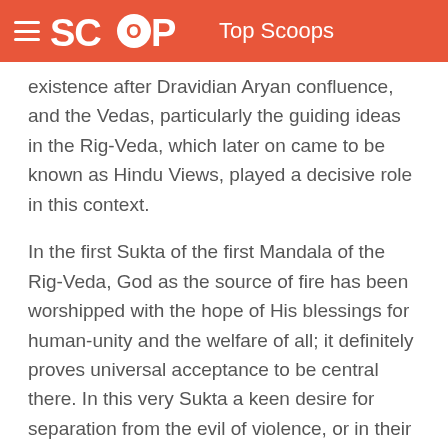SCOOP Top Scoops
existence after Dravidian Aryan confluence, and the Vedas, particularly the guiding ideas in the Rig-Veda, which later on came to be known as Hindu Views, played a decisive role in this context.
In the first Sukta of the first Mandala of the Rig-Veda, God as the source of fire has been worshipped with the hope of His blessings for human-unity and the welfare of all; it definitely proves universal acceptance to be central there. In this very Sukta a keen desire for separation from the evil of violence, or in their words a wish for non-violence, is the indicator of those two great and exemplary values which defined day-to-day human practices from a Hindu or Vedic point of view.